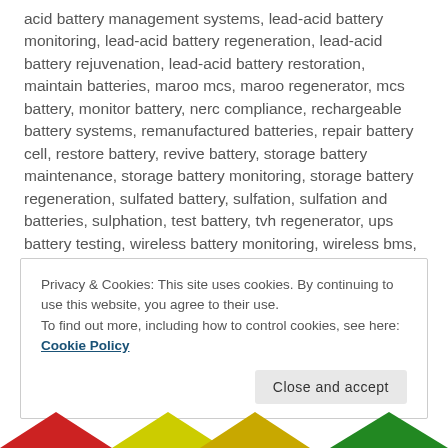acid battery management systems, lead-acid battery monitoring, lead-acid battery regeneration, lead-acid battery rejuvenation, lead-acid battery restoration, maintain batteries, maroo mcs, maroo regenerator, mcs battery, monitor battery, nerc compliance, rechargeable battery systems, remanufactured batteries, repair battery cell, restore battery, revive battery, storage battery maintenance, storage battery monitoring, storage battery regeneration, sulfated battery, sulfation, sulfation and batteries, sulphation, test battery, tvh regenerator, ups battery testing, wireless battery monitoring, wireless bms, xtender, xtender lead-acid battery regenerator     leave a comment
Privacy & Cookies: This site uses cookies. By continuing to use this website, you agree to their use.
To find out more, including how to control cookies, see here: Cookie Policy